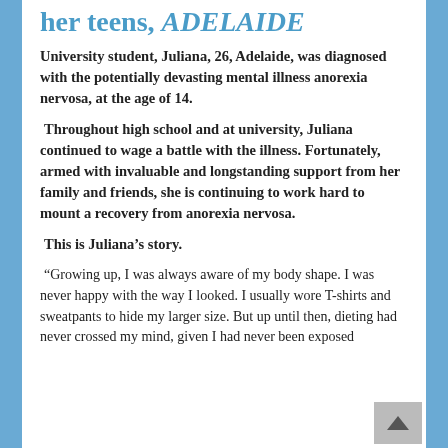her teens, ADELAIDE
University student, Juliana, 26, Adelaide, was diagnosed with the potentially devasting mental illness anorexia nervosa, at the age of 14.
Throughout high school and at university, Juliana continued to wage a battle with the illness. Fortunately, armed with invaluable and longstanding support from her family and friends, she is continuing to work hard to mount a recovery from anorexia nervosa.
This is Juliana’s story.
“Growing up, I was always aware of my body shape. I was never happy with the way I looked. I usually wore T-shirts and sweatpants to hide my larger size. But up until then, dieting had never crossed my mind, given I had never been exposed